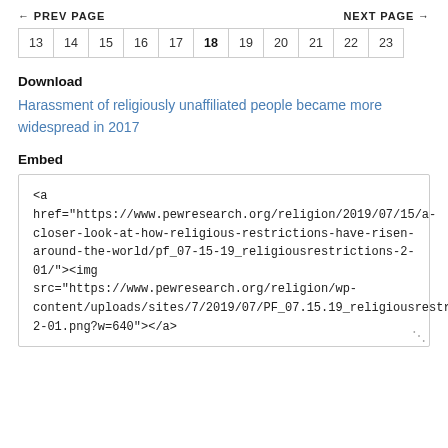← PREV PAGE    NEXT PAGE →
13  14  15  16  17  18  19  20  21  22  23
Download
Harassment of religiously unaffiliated people became more widespread in 2017
Embed
<a href="https://www.pewresearch.org/religion/2019/07/15/a-closer-look-at-how-religious-restrictions-have-risen-around-the-world/pf_07-15-19_religiousrestrictions-2-01/"><img src="https://www.pewresearch.org/religion/wp-content/uploads/sites/7/2019/07/PF_07.15.19_religiousrestrictions-2-01.png?w=640"></a>